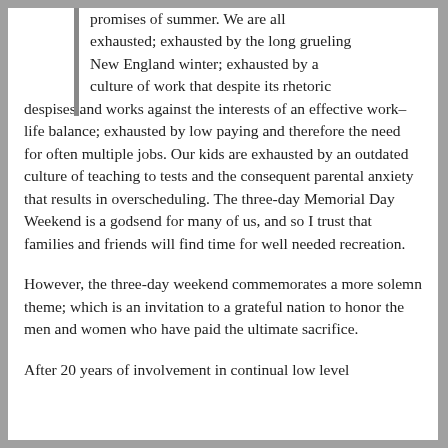promises of summer. We are all exhausted; exhausted by the long grueling New England winter; exhausted by a culture of work that despite its rhetoric despises and works against the interests of an effective work–life balance; exhausted by low paying and therefore the need for often multiple jobs. Our kids are exhausted by an outdated culture of teaching to tests and the consequent parental anxiety that results in overscheduling. The three-day Memorial Day Weekend is a godsend for many of us, and so I trust that families and friends will find time for well needed recreation.
However, the three-day weekend commemorates a more solemn theme; which is an invitation to a grateful nation to honor the men and women who have paid the ultimate sacrifice.
After 20 years of involvement in continual low level